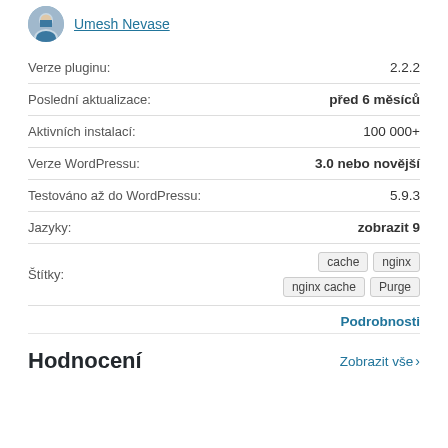Umesh Nevase
| Label | Value |
| --- | --- |
| Verze pluginu: | 2.2.2 |
| Poslední aktualizace: | před 6 měsíců |
| Aktivních instalací: | 100 000+ |
| Verze WordPressu: | 3.0 nebo novější |
| Testováno až do WordPressu: | 5.9.3 |
| Jazyky: | zobrazit 9 |
| Štítky: | cache  nginx  nginx cache  Purge |
Podrobnosti
Hodnocení
Zobrazit vše >